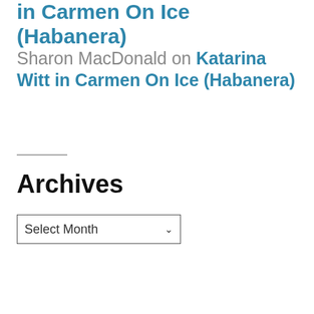in Carmen On Ice (Habanera)
Sharon MacDonald on Katarina Witt in Carmen On Ice (Habanera)
Archives
Select Month